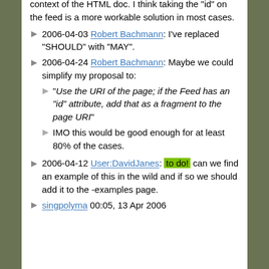context of the HTML doc. I think taking the "id" on the feed is a more workable solution in most cases.
2006-04-03 Robert Bachmann: I've replaced "SHOULD" with "MAY".
2006-04-24 Robert Bachmann: Maybe we could simplify my proposal to:
"Use the URI of the page; if the Feed has an "id" attribute, add that as a fragment to the page URI"
IMO this would be good enough for at least 80% of the cases.
2006-04-12 User:DavidJanes: to do! can we find an example of this in the wild and if so we should add it to the -examples page.
singpolyma 00:05, 13 Apr 2006